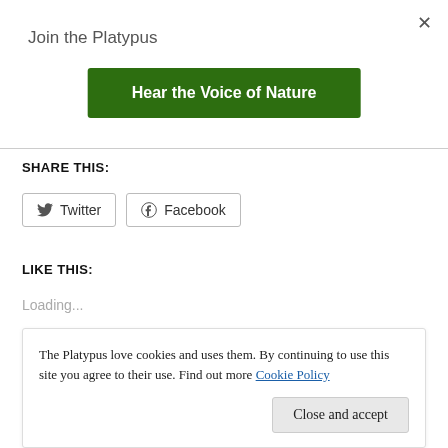×
Join the Platypus
Hear the Voice of Nature
SHARE THIS:
Twitter
Facebook
LIKE THIS:
Loading...
The Platypus love cookies and uses them. By continuing to use this site you agree to their use. Find out more Cookie Policy
Close and accept